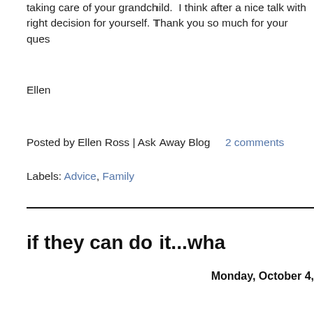taking care of your grandchild.  I think after a nice talk with right decision for yourself. Thank you so much for your ques
Ellen
Posted by Ellen Ross | Ask Away Blog    2 comments
Labels: Advice, Family
if they can do it...wha
Monday, October 4,